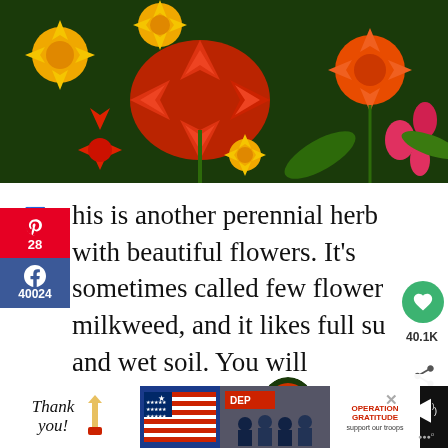[Figure (photo): Close-up photo of vibrant orange, red, and yellow tropical flowers (milkweed) against a dark green background]
his is another perennial herb with beautiful flowers. It's sometimes called few flower milkweed, and it likes full sun and wet soil. You will sometimes see this milkweed sprouting up from wet or beside bodies of water and streams.
[Figure (other): What's Next thumbnail showing orange flowers with label '13 Worst Invasive...']
[Figure (other): Advertisement banner at the bottom: thank you image with Operation Gratitude logo and firefighters photo]